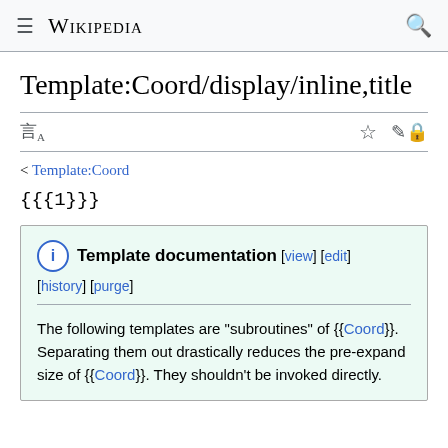≡ WIKIPEDIA 🔍
Template:Coord/display/inline,title
< Template:Coord
{{{1}}}
{{ℹ}} Template documentation[view] [edit] [history] [purge]
The following templates are "subroutines" of {{Coord}}. Separating them out drastically reduces the pre-expand size of {{Coord}}. They shouldn't be invoked directly.